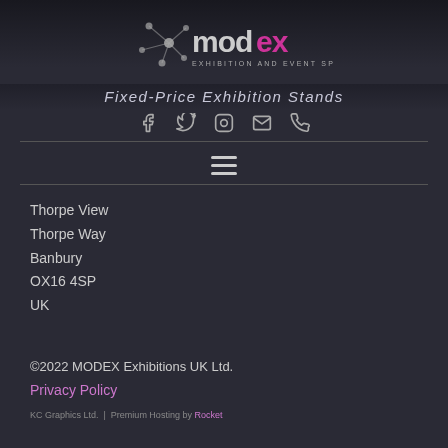[Figure (logo): MODEX Exhibition and Event Specialists logo with network/node graphic in grey and pink/magenta text]
Fixed-Price Exhibition Stands
[Figure (infographic): Social media icons: Facebook, Twitter, Instagram, Email, Phone]
[Figure (infographic): Hamburger menu icon (three horizontal lines)]
Thorpe View
Thorpe Way
Banbury
OX16 4SP
UK
©2022 MODEX Exhibitions UK Ltd.
Privacy Policy
KC Graphics Ltd. | Premium Hosting by Rocket